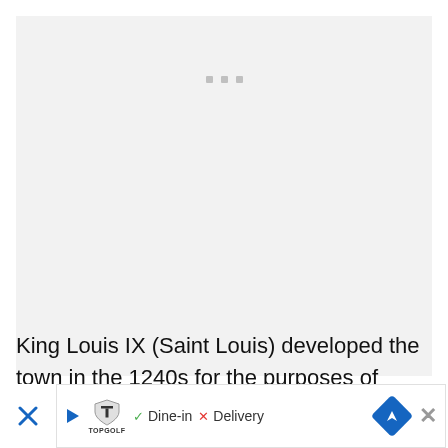[Figure (other): Large light gray placeholder image area with three small gray square dots near the top center]
King Louis IX (Saint Louis) developed the town in the 1240s for the purposes of commerce and to embark on a Crusade from the nearby port. The ramparts took more than 30 years to build; they fo... ob...ds th...
[Figure (screenshot): Advertisement banner overlay showing Topgolf logo with checkmark Dine-in and X Delivery options, a blue navigation arrow icon, and a close X button]